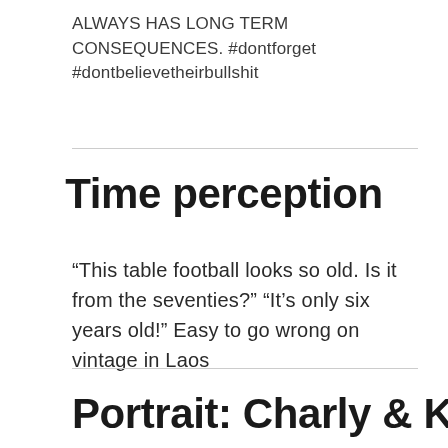ALWAYS HAS LONG TERM CONSEQUENCES. #dontforget #dontbelievetheirbullshit
Time perception
“This table football looks so old. Is it from the seventies?” “It’s only six years old!” Easy to go wrong on vintage in Laos
Portrait: Charly & Katja